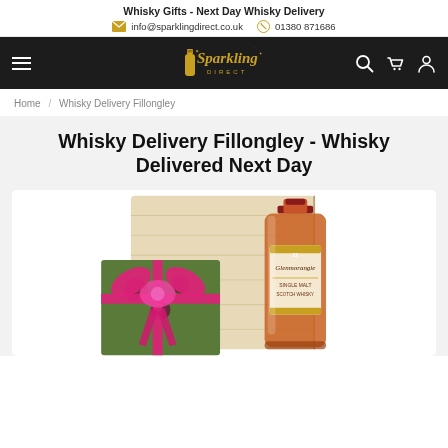Whisky Gifts - Next Day Whisky Delivery
info@sparklingdirect.co.uk   01380 871686
[Figure (logo): Sparkling Direct logo - gold script text on dark nav bar]
Home / Whisky Delivery Fillongley
Whisky Delivery Fillongley - Whisky Delivered Next Day
[Figure (photo): Product photo showing a whisky gift set with a wooden box, a wrapped gift box with pink ribbon bow and a bottle of Glenmorangie 12 year old whisky]